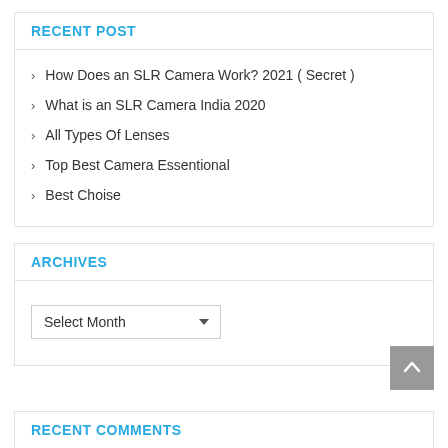RECENT POST
How Does an SLR Camera Work? 2021 ( Secret )
What is an SLR Camera India 2020
All Types Of Lenses
Top Best Camera Essentional
Best Choise
ARCHIVES
Select Month
RECENT COMMENTS